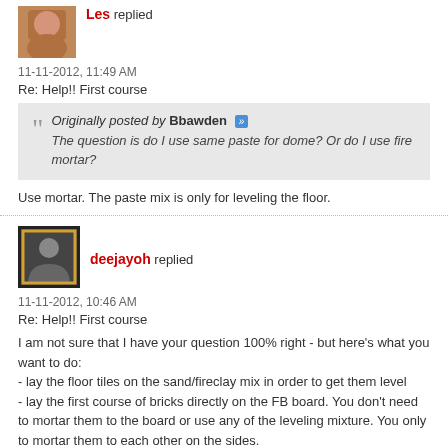Les replied
11-11-2012, 11:49 AM
Re: Help!! First course
Originally posted by Bbawden » The question is do I use same paste for dome? Or do I use fire mortar?
Use mortar. The paste mix is only for leveling the floor.
deejayoh replied
11-11-2012, 10:46 AM
Re: Help!! First course
I am not sure that I have your question 100% right - but here's what you want to do:
- lay the floor tiles on the sand/fireclay mix in order to get them level
- lay the first course of bricks directly on the FB board. You don't need to mortar them to the board or use any of the leveling mixture. You only to mortar them to each other on the sides.
Bbawden started a topic Help!! First course